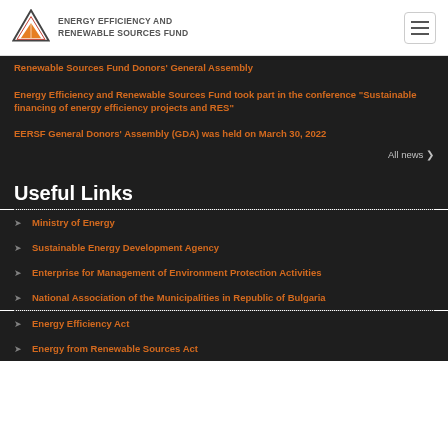ENERGY EFFICIENCY AND RENEWABLE SOURCES FUND
Renewable Sources Fund Donors' General Assembly
Energy Efficiency and Renewable Sources Fund took part in the conference "Sustainable financing of energy efficiency projects and RES"
EERSF General Donors' Assembly (GDA) was held on March 30, 2022
All news ❯
Useful Links
Ministry of Energy
Sustainable Energy Development Agency
Enterprise for Management of Environment Protection Activities
National Association of the Municipalities in Republic of Bulgaria
Energy Efficiency Act
Energy from Renewable Sources Act